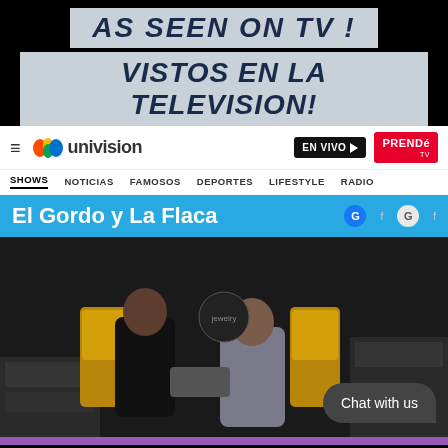AS SEEN ON TV !
VISTOS EN LA TELEVISION!
[Figure (screenshot): Univision website header with logo, EN VIVO button, PRENDE TV button, navigation menu with SHOWS, NOTICIAS, FAMOSOS, DEPORTES, LIFESTYLE, RADIO, show title El Gordo y La Flaca with social icons, and a video thumbnail showing two men in a jewelry store with a chat bubble overlay saying Chat with us]
El Gordo y La Flaca
Chat with us